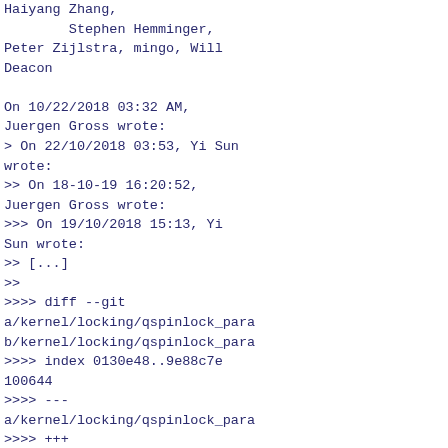Haiyang Zhang,
        Stephen Hemminger,
Peter Zijlstra, mingo, Will
Deacon

On 10/22/2018 03:32 AM,
Juergen Gross wrote:
> On 22/10/2018 03:53, Yi Sun
wrote:
>> On 18-10-19 16:20:52,
Juergen Gross wrote:
>>> On 19/10/2018 15:13, Yi
Sun wrote:
>> [...]
>>
>>>> diff --git
a/kernel/locking/qspinlock_para
b/kernel/locking/qspinlock_para
>>>> index 0130e48..9e88c7e
100644
>>>> ---
a/kernel/locking/qspinlock_para
>>>> +++
b/kernel/locking/qspinlock_para
>>>> @@ -7,6 +7,8 @@
>>>>  #include
<linux/bootmem.h>
>>>>  #include
<linux/debug_locks.h>
>>>>
>>>> +#include